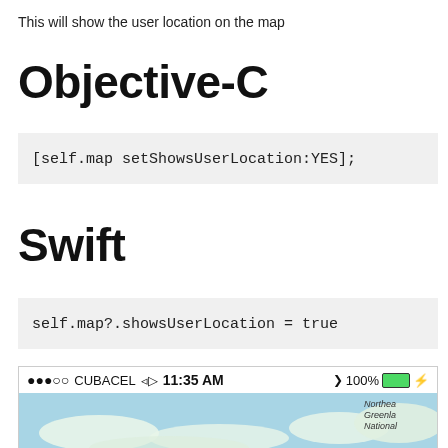This will show the user location on the map
Objective-C
Swift
[Figure (screenshot): iPhone status bar showing CUBACEL carrier, 11:35 AM, 100% battery, and a map view showing Arctic region including Northeast Greenland National Park]